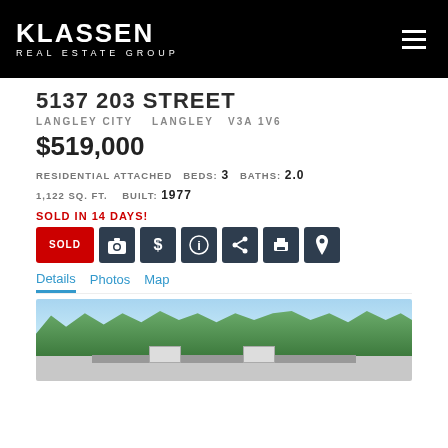KLASSEN REAL ESTATE GROUP
5137 203 STREET
LANGLEY CITY   LANGLEY   V3A 1V6
$519,000
RESIDENTIAL ATTACHED  BEDS: 3  BATHS: 2.0  1,122 SQ. FT.  BUILT: 1977
SOLD IN 14 DAYS!
[Figure (screenshot): Row of action icon buttons: SOLD (red), camera, dollar sign, info, share, print, map pin — all on dark backgrounds]
Details   Photos   Map
[Figure (photo): Exterior photo of a residential property with trees in foreground and building visible behind]